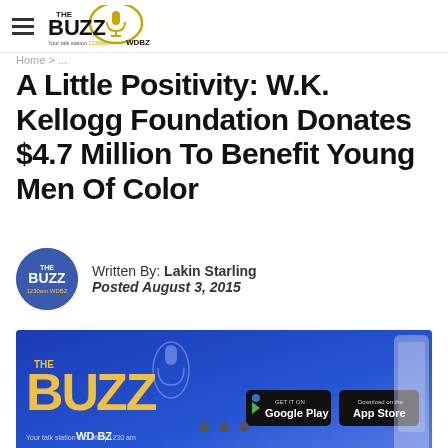THE BUZZ WDBZ — Your talk station 1230am
Home
A Little Positivity: W.K. Kellogg Foundation Donates $4.7 Million To Benefit Young Men Of Color
Written By: Lakin Starling
Posted August 3, 2015
[Figure (photo): The Buzz WDBZ promotional banner advertisement showing logo, Google Play and App Store download buttons]
• • •